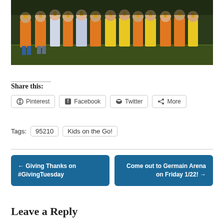[Figure (photo): Group of children in orange and yellow t-shirts holding trophies on a sports field at night]
Share this:
Pinterest  Facebook  Twitter  More
Tags: 95210  Kids on the Go!
← Giving Thanks on #GivingTuesday
Come out to Germain Arena on Friday 1/22! →
Leave a Reply